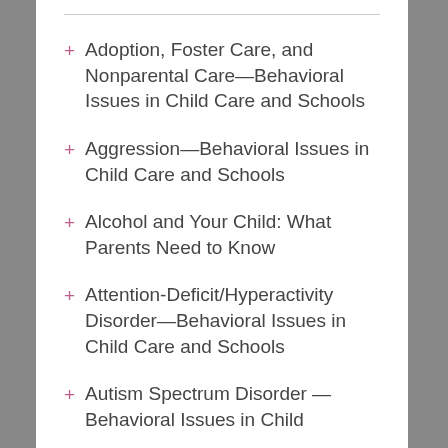Adoption, Foster Care, and Nonparental Care—Behavioral Issues in Child Care and Schools
Aggression—Behavioral Issues in Child Care and Schools
Alcohol and Your Child: What Parents Need to Know
Attention-Deficit/Hyperactivity Disorder—Behavioral Issues in Child Care and Schools
Autism Spectrum Disorder—Behavioral Issues in Child